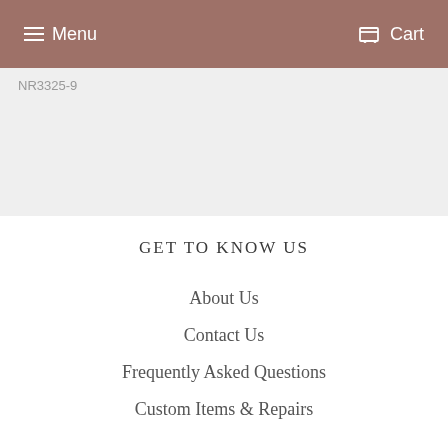Menu   Cart
NR3325-9
GET TO KNOW US
About Us
Contact Us
Frequently Asked Questions
Custom Items & Repairs
BUYING GUIDES
Diamond Guide
Pearl Guide
Coloured Stones Guide